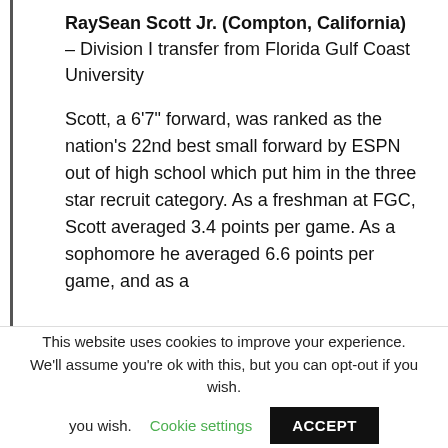RaySean Scott Jr. (Compton, California) – Division I transfer from Florida Gulf Coast University
Scott, a 6'7" forward, was ranked as the nation's 22nd best small forward by ESPN out of high school which put him in the three star recruit category. As a freshman at FGC, Scott averaged 3.4 points per game. As a sophomore he averaged 6.6 points per game, and as a
This website uses cookies to improve your experience. We'll assume you're ok with this, but you can opt-out if you wish. Cookie settings ACCEPT